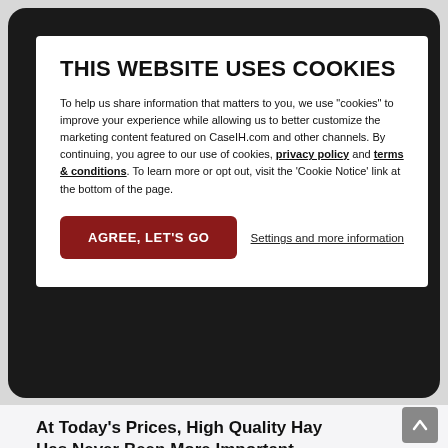THIS WEBSITE USES COOKIES
To help us share information that matters to you, we use "cookies" to improve your experience while allowing us to better customize the marketing content featured on CaseIH.com and other channels. By continuing, you agree to our use of cookies, privacy policy and terms & conditions. To learn more or opt out, visit the 'Cookie Notice' link at the bottom of the page.
AGREE, LET'S GO
Settings and more information
At Today's Prices, High Quality Hay Has Never Been More Important